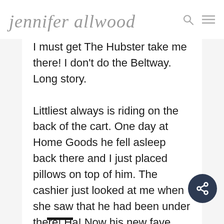jennifer allwood
I must get The Hubster take me there! I don't do the Beltway. Long story.
Littliest always is riding on the back of the cart. One day at Home Goods he fell asleep back there and I just placed pillows on top of him. The cashier just looked at me when she saw that he had been under there! Ha! Now his new fave spot is under the cart.